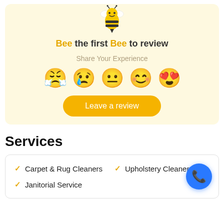[Figure (illustration): Bee emoji mascot icon at top of review card]
Bee the first Bee to review
Share Your Experience
[Figure (illustration): Row of five emoji faces: angry/crying, sad, neutral, happy, heart-eyes]
[Figure (other): Leave a review yellow rounded button]
Services
Carpet & Rug Cleaners
Upholstery Cleaners
Janitorial Service